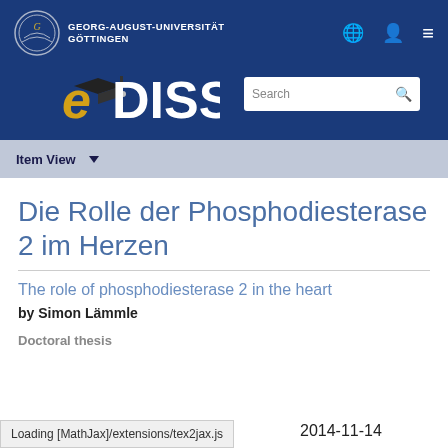[Figure (screenshot): Georg-August-Universität Göttingen eDiss repository website header with university logo, navigation icons, eDiss logo, and search bar]
Item View ▼
Die Rolle der Phosphodiesterase 2 im Herzen
The role of phosphodiesterase 2 in the heart
by Simon Lämmle
Doctoral thesis
Loading [MathJax]/extensions/tex2jax.js
2014-11-14